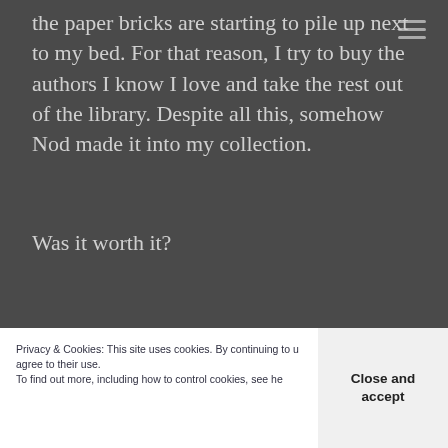the paper bricks are starting to pile up next to my bed. For that reason, I try to buy the authors I know I love and take the rest out of the library. Despite all this, somehow Nod made it into my collection.
Was it worth it?
To be honest, I was originally going to write a
lack of woman characters throughout the book